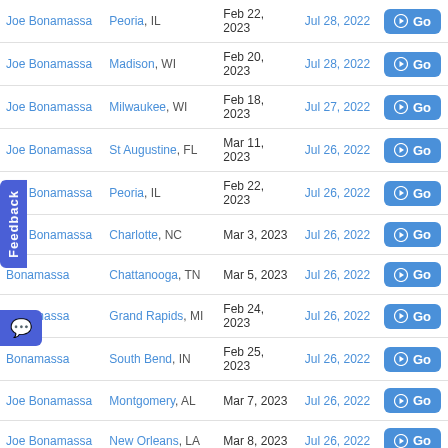| Artist | Location | Show Date | Date Added |  |
| --- | --- | --- | --- | --- |
| Joe Bonamassa | Peoria, IL | Feb 22, 2023 | Jul 28, 2022 | Go |
| Joe Bonamassa | Madison, WI | Feb 20, 2023 | Jul 28, 2022 | Go |
| Joe Bonamassa | Milwaukee, WI | Feb 18, 2023 | Jul 27, 2022 | Go |
| Joe Bonamassa | St Augustine, FL | Mar 11, 2023 | Jul 26, 2022 | Go |
| Joe Bonamassa | Peoria, IL | Feb 22, 2023 | Jul 26, 2022 | Go |
| Joe Bonamassa | Charlotte, NC | Mar 3, 2023 | Jul 26, 2022 | Go |
| Bonamassa | Chattanooga, TN | Mar 5, 2023 | Jul 26, 2022 | Go |
| Bonamassa | Grand Rapids, MI | Feb 24, 2023 | Jul 26, 2022 | Go |
| Bonamassa | South Bend, IN | Feb 25, 2023 | Jul 26, 2022 | Go |
| Joe Bonamassa | Montgomery, AL | Mar 7, 2023 | Jul 26, 2022 | Go |
| Joe Bonamassa | New Orleans, LA | Mar 8, 2023 | Jul 26, 2022 | Go |